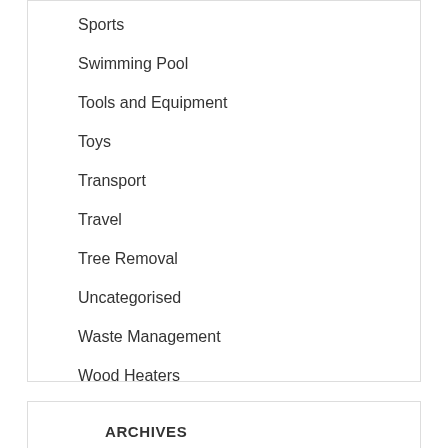Sports
Swimming Pool
Tools and Equipment
Toys
Transport
Travel
Tree Removal
Uncategorised
Waste Management
Wood Heaters
Yoga & Fitness
ARCHIVES